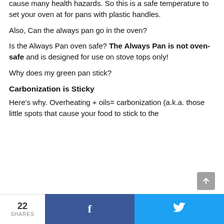cause many health hazards. So this is a safe temperature to set your oven at for pans with plastic handles.
Also, Can the always pan go in the oven?
Is the Always Pan oven safe? The Always Pan is not oven-safe and is designed for use on stove tops only!
Why does my green pan stick?
Carbonization is Sticky
Here’s why. Overheating + oils= carbonization (a.k.a. those little spots that cause your food to stick to the
22 SHARES  f  🐦